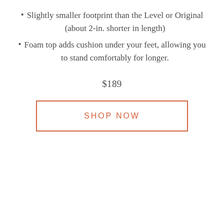Slightly smaller footprint than the Level or Original (about 2-in. shorter in length)
Foam top adds cushion under your feet, allowing you to stand comfortably for longer.
$189
SHOP NOW